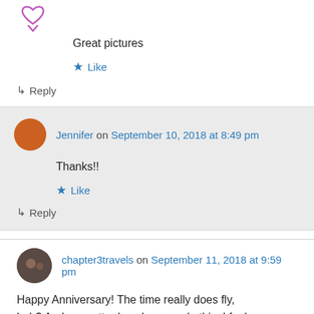[Figure (illustration): Small purple heart/arrow icon at top left]
Great pictures
★ Like
↳ Reply
Jennifer on September 10, 2018 at 8:49 pm
Thanks!!
★ Like
↳ Reply
chapter3travels on September 11, 2018 at 9:59 pm
Happy Anniversary! The time really does fly, huh? And no matter how long we do this, I feel